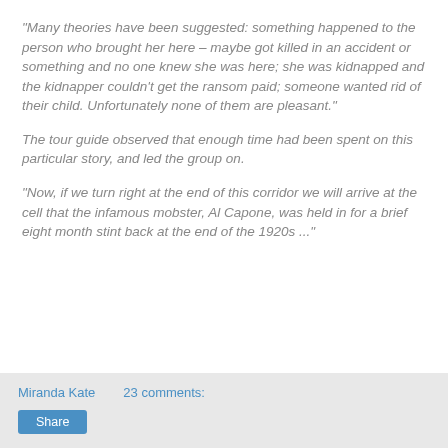“Many theories have been suggested: something happened to the person who brought her here – maybe got killed in an accident or something and no one knew she was here; she was kidnapped and the kidnapper couldn’t get the ransom paid; someone wanted rid of their child. Unfortunately none of them are pleasant.”
The tour guide observed that enough time had been spent on this particular story, and led the group on.
“Now, if we turn right at the end of this corridor we will arrive at the cell that the infamous mobster, Al Capone, was held in for a brief eight month stint back at the end of the 1920s ...”
Miranda Kate   23 comments:   Share